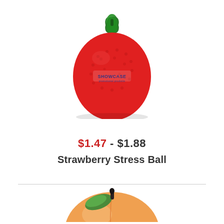[Figure (photo): Red strawberry-shaped stress ball with green leaf top and 'ShowCase' logo printed on the front]
$1.47 - $1.88
Strawberry Stress Ball
[Figure (photo): Peach/orange-shaped stress ball partially visible at bottom of page, with green leaf accent and dark stem on top]